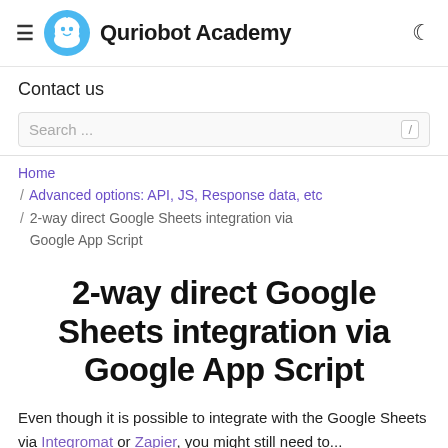≡ Quriobot Academy
Contact us
Search ...
Home / Advanced options: API, JS, Response data, etc / 2-way direct Google Sheets integration via Google App Script
2-way direct Google Sheets integration via Google App Script
Even though it is possible to integrate with the Google Sheets via Integromat or Zapier, you might still need to...